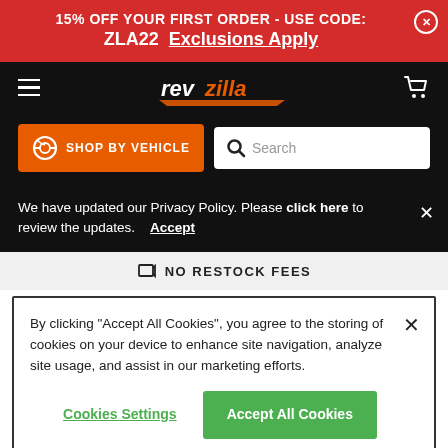15% OFF YOUR FIRST ORDER - USE CODE: ZLA22  Exclusions Apply
[Figure (logo): RevZilla logo with hamburger menu and cart icon on black navigation bar]
[Figure (screenshot): Orange Shop By Vehicle button with wheel icon, and Search box]
We have updated our Privacy Policy. Please click here to review the updates.  Accept
NO RESTOCK FEES
By clicking “Accept All Cookies”, you agree to the storing of cookies on your device to enhance site navigation, analyze site usage, and assist in our marketing efforts.